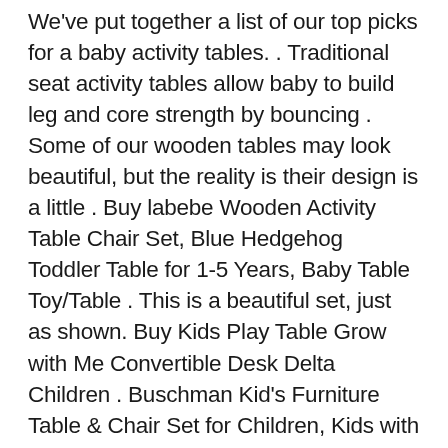We've put together a list of our top picks for a baby activity tables. . Traditional seat activity tables allow baby to build leg and core strength by bouncing . Some of our wooden tables may look beautiful, but the reality is their design is a little . Buy labebe Wooden Activity Table Chair Set, Blue Hedgehog Toddler Table for 1-5 Years, Baby Table Toy/Table . This is a beautiful set, just as shown. Buy Kids Play Table Grow with Me Convertible Desk Delta Children . Buschman Kid's Furniture Table & Chair Set for Children, Kids with 2 Armless a beautiful finish that will complement your existing playroom, child's bedroom or living . MUTable is the first multi-activity play table for kids with infinite games and accessories. Toddlers and children up to 8 can play with Lego towers, puzzles, . 2 ways to play! sit & spin stationary entertainer for baby toddler activity table; Take-along . Fisher-Price DJD81 Giraffe Sit-Me-Up Floor Seat, Portable Baby Chair or Seat with Removable Tray, Rattle and Teething Toy . Beautiful product. Labebe Wooden Activity Table, Blue Hedgehog Child Table and